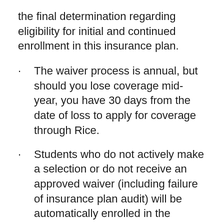the final determination regarding eligibility for initial and continued enrollment in this insurance plan.
The waiver process is annual, but should you lose coverage mid-year, you have 30 days from the date of loss to apply for coverage through Rice.
Students who do not actively make a selection or do not receive an approved waiver (including failure of insurance plan audit) will be automatically enrolled in the school's insurance plan.
Rice University reserves the right to review all waivers in order to ensure compliance with